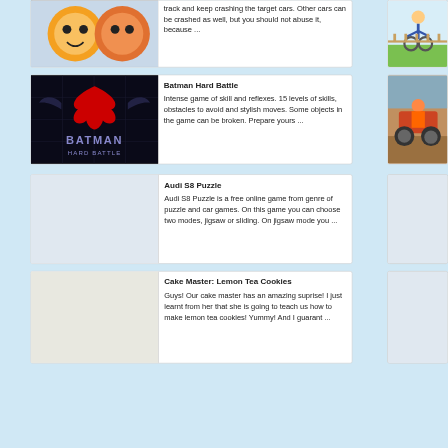track and keep crashing the target cars. Other cars can be crashed as well, but you should not abuse it, because ...
[Figure (illustration): Cartoon game thumbnail (partial, top-left)]
[Figure (illustration): Cartoon bicycle game thumbnail (partial, top-right)]
Batman Hard Battle
Intense game of skill and reflexes. 15 levels of skills, obstacles to avoid and stylish moves. Some objects in the game can be broken. Prepare yours ...
[Figure (screenshot): Batman Hard Battle game screenshot with dark background and Batman logo]
[Figure (photo): Motocross ATV game screenshot (partial, right column)]
Audi S8 Puzzle
Audi S8 Puzzle is a free online game from genre of puzzle and car games. On this game you can choose two modes, jigsaw or sliding. On jigsaw mode you ...
Cake Master: Lemon Tea Cookies
Guys! Our cake master has an amazing suprise! I just learnt from her that she is going to teach us how to make lemon tea cookies! Yummy! And I guarant ...